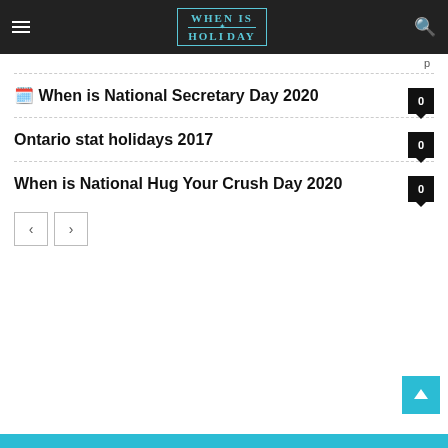WHEN IS HOLIDAY
🗓️ When is National Secretary Day 2020
Ontario stat holidays 2017
When is National Hug Your Crush Day 2020